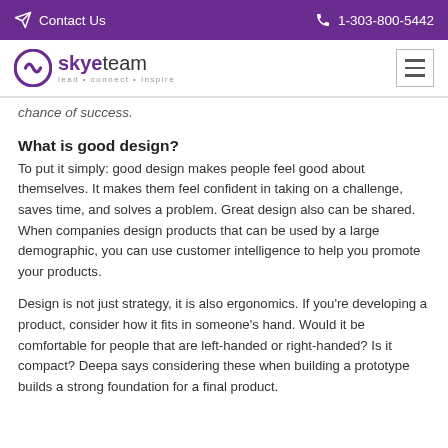Contact Us   1-303-800-5442
[Figure (logo): Skyeteam logo with tagline: lead • connect • inspire]
chance of success.
What is good design?
To put it simply: good design makes people feel good about themselves. It makes them feel confident in taking on a challenge, saves time, and solves a problem. Great design also can be shared. When companies design products that can be used by a large demographic, you can use customer intelligence to help you promote your products.
Design is not just strategy, it is also ergonomics. If you're developing a product, consider how it fits in someone's hand. Would it be comfortable for people that are left-handed or right-handed? Is it compact? Deepa says considering these when building a prototype builds a strong foundation for a final product.